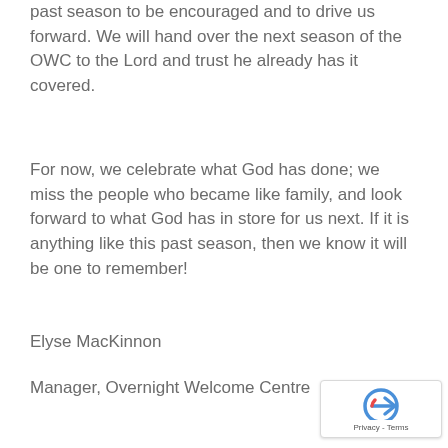past season to be encouraged and to drive us forward. We will hand over the next season of the OWC to the Lord and trust he already has it covered.
For now, we celebrate what God has done; we miss the people who became like family, and look forward to what God has in store for us next. If it is anything like this past season, then we know it will be one to remember!
Elyse MacKinnon
Manager, Overnight Welcome Centre
[Figure (other): reCAPTCHA privacy badge with arrow icon and 'Privacy - Terms' text]